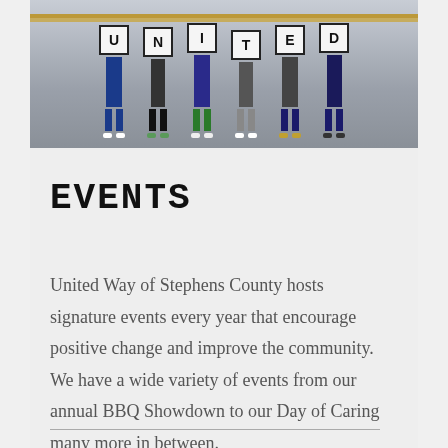[Figure (photo): Group of people standing against a railing holding up large letter signs spelling UNITED]
EVENTS
United Way of Stephens County hosts signature events every year that encourage positive change and improve the community. We have a wide variety of events from our annual BBQ Showdown to our Day of Caring many more in between.